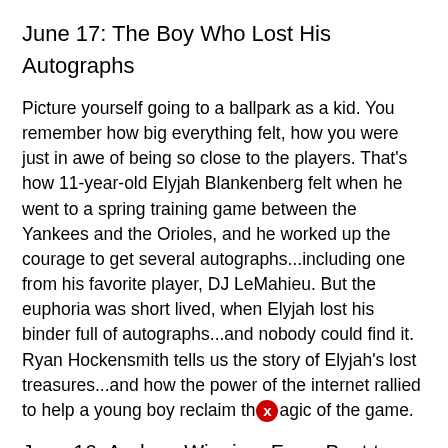June 17: The Boy Who Lost His Autographs
Picture yourself going to a ballpark as a kid. You remember how big everything felt, how you were just in awe of being so close to the players. That's how 11-year-old Elyjah Blankenberg felt when he went to a spring training game between the Yankees and the Orioles, and he worked up the courage to get several autographs...including one from his favorite player, DJ LeMahieu. But the euphoria was short lived, when Elyjah lost his binder full of autographs...and nobody could find it. Ryan Hockensmith tells us the story of Elyjah's lost treasures...and how the power of the internet rallied to help a young boy reclaim the magic of the game.
June 16: Andrew Wiggins: From Bust to Finals MVP?
The Golden State Warriors are one win away from their fourth NBA title in the past eight years. And while Steph Curry has been the consensus favorite to win the Finals MVP, his rough shooting performance in game 5 has opened the door for another Warrior teammate: Andrew Wiggins. Not only has Wiggins managed to slow down Jayson Tatum on defense, but he was undoubtedly the best player on either team in game 5. Malika Andrews sat down with Wiggins, and she talks about how he changed the life of a friend in need.